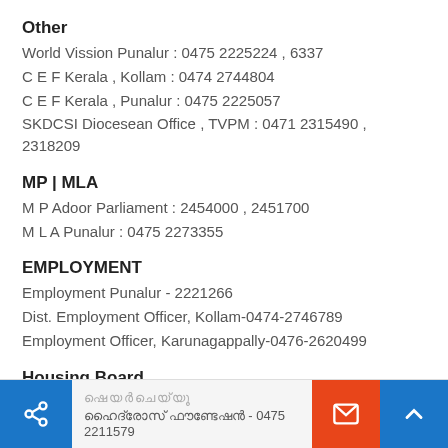Other
World Vission Punalur : 0475 2225224 , 6337
C E F Kerala , Kollam : 0474 2744804
C E F Kerala , Punalur : 0475 2225057
SKDCSI Diocesean Office , TVPM : 0471 2315490 , 2318209
MP | MLA
M P Adoor Parliament : 2454000 , 2451700
M L A Punalur : 0475 2273355
EMPLOYMENT
Employment Punalur - 2221266
Dist. Employment Officer, Kollam-0474-2746789
Employment Officer, Karunagappally-0476-2620499
Housing Board
Housing board - Pathanapuram - 23252525
Division Office Kollam - 0474 2740304
ഷെയർചെയ്യൂ | ഹൈദ്രോസ്‌ ഫൗണ്ടേഷൻ - 0475 2211579